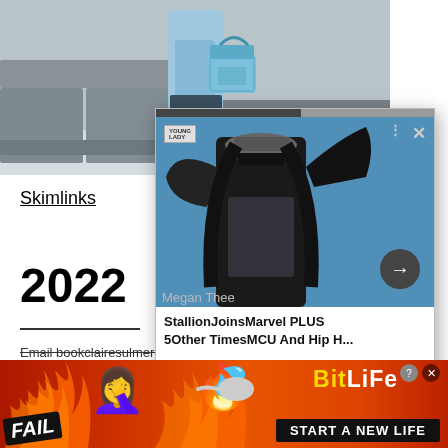[Figure (photo): Top portion of a person wearing light blue outfit and holding a light blue Hermes handbag, standing in front of grey modular sofa furniture on a light tile floor]
Skimlinks
2022
[Figure (photo): Popup overlay card showing Megan Thee Stallion in black corset outfit with fur coat and cap, posing against blue sky background. Card has close button, three dots menu, publisher logo, forward arrow button, and headline text: 'Megan Thee StallionJoinsMarvel PLUS 5Other TimesMCU And Hip H...']
Megan Thee
StallionJoinsMarvel PLUS
5Other TimesMCU And Hip H...
Email bookclairesulmers@gmail.com to
[Figure (infographic): BitLife advertisement banner with orange-red fire background, FAIL badge, blonde emoji, fire emoji, sperm icon, BitLife logo in yellow, and 'START A NEW LIFE' text on black banner]